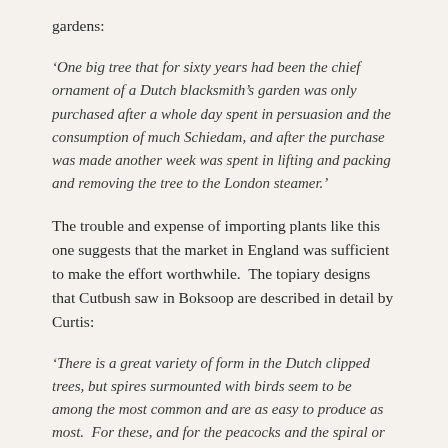gardens:
‘One big tree that for sixty years had been the chief ornament of a Dutch blacksmith’s garden was only purchased after a whole day spent in persuasion and the consumption of much Schiedam, and after the purchase was made another week was spent in lifting and packing and removing the tree to the London steamer.’
The trouble and expense of importing plants like this one suggests that the market in England was sufficient to make the effort worthwhile.  The topiary designs that Cutbush saw in Boksoop are described in detail by Curtis:
‘There is a great variety of form in the Dutch clipped trees, but spires surmounted with birds seem to be among the most common and are as easy to produce as most.  For these, and for the peacocks and the spiral or serpentine columns, yew is